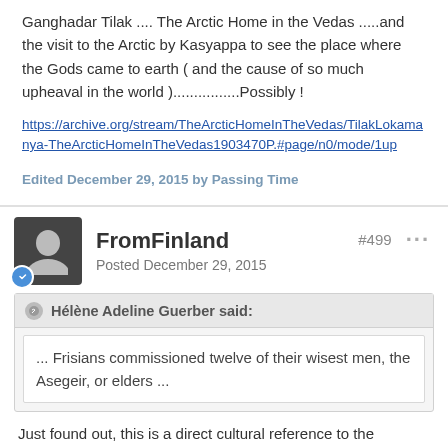Ganghadar Tilak .... The Arctic Home in the Vedas .....and the visit to the Arctic by Kasyappa to see the place where the Gods came to earth ( and the cause of so much upheaval in the world )................Possibly !
https://archive.org/stream/TheArcticHomeInTheVedas/TilakLokamanya-TheArcticHomeInTheVedas1903470P.#page/n0/mode/1up
Edited December 29, 2015 by Passing Time
FromFinland
Posted December 29, 2015
#499
Hélène Adeline Guerber said:
... Frisians commissioned twelve of their wisest men, the Asegeir, or elders ...
Just found out, this is a direct cultural reference to the Gladsheimr of the Æsir as described by authors of Wikipedia: